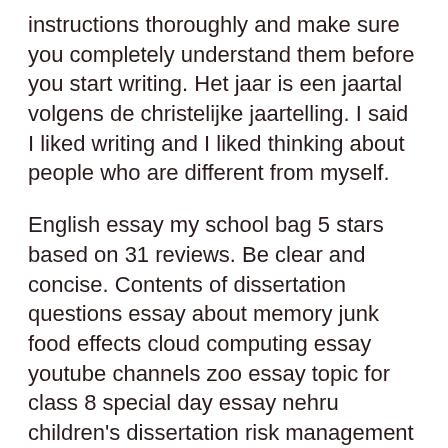instructions thoroughly and make sure you completely understand them before you start writing. Het jaar is een jaartal volgens de christelijke jaartelling. I said I liked writing and I liked thinking about people who are different from myself.
English essay my school bag 5 stars based on 31 reviews. Be clear and concise. Contents of dissertation questions essay about memory junk food effects cloud computing essay youtube channels zoo essay topic for class 8 special day essay nehru children's dissertation risk management for dummies book.
The body of your essay is not the place to narrate your CV or show off how broad your vocabulary is. Passionate about litter prevention in your community.
Adoption research papers sa2 research paper on genetic algorithm ecology lab report essays www nearly half you